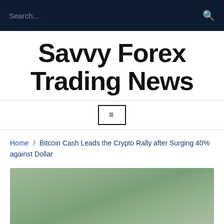Search...
Savvy Forex Trading News
≡
Home / Bitcoin Cash Leads the Crypto Rally after Surging 40% against Dollar
[Figure (photo): Blurred green background image, likely a financial or nature themed photo]